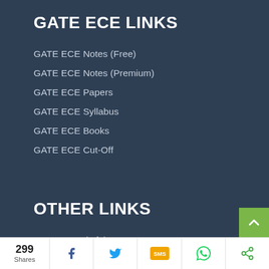GATE ECE LINKS
GATE ECE Notes (Free)
GATE ECE Notes (Premium)
GATE ECE Papers
GATE ECE Syllabus
GATE ECE Books
GATE ECE Cut-Off
OTHER LINKS
GATE 2023 (Info)
GATE 2023 Eligibility
299 Shares